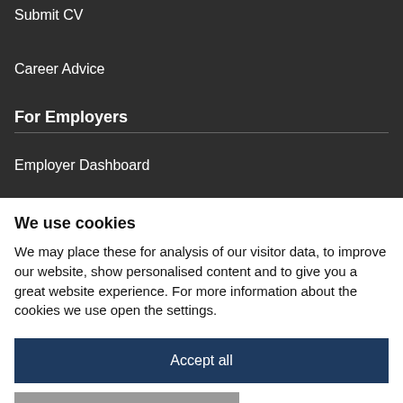Submit CV
Career Advice
For Employers
Employer Dashboard
We use cookies
We may place these for analysis of our visitor data, to improve our website, show personalised content and to give you a great website experience. For more information about the cookies we use open the settings.
Accept all
No, adjust